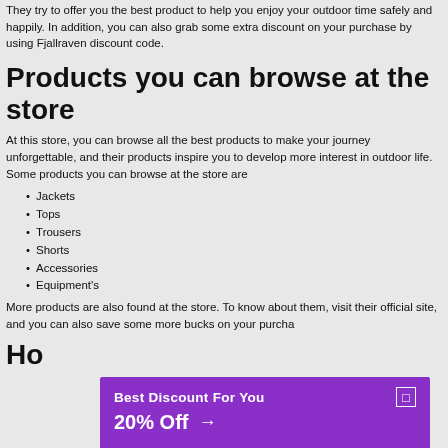They try to offer you the best product to help you enjoy your outdoor time safely and happily. In addition, you can also grab some extra discount on your purchase by using Fjallraven discount code.
Products you can browse at the store
At this store, you can browse all the best products to make your journey unforgettable, and their products inspire you to develop more interest in outdoor life. Some products you can browse at the store are
Jackets
Tops
Trousers
Shorts
Accessories
Equipment's
More products are also found at the store. To know about them, visit their official site, and you can also save some more bucks on your purchase
How
[Figure (infographic): Purple promotional banner reading 'Best Discount For You' with '20% Off →' and a close button]